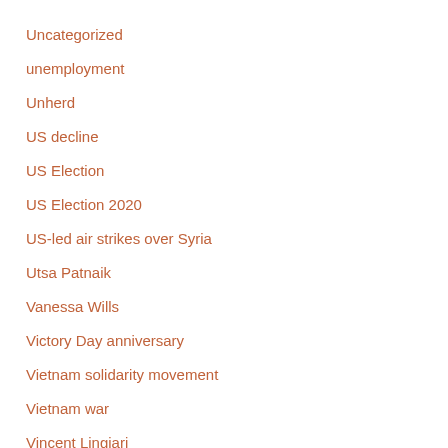Uncategorized
unemployment
Unherd
US decline
US Election
US Election 2020
US-led air strikes over Syria
Utsa Patnaik
Vanessa Wills
Victory Day anniversary
Vietnam solidarity movement
Vietnam war
Vincent Lingiari
Vladimir Putin
wages
Wang Hung-wen
war on terror